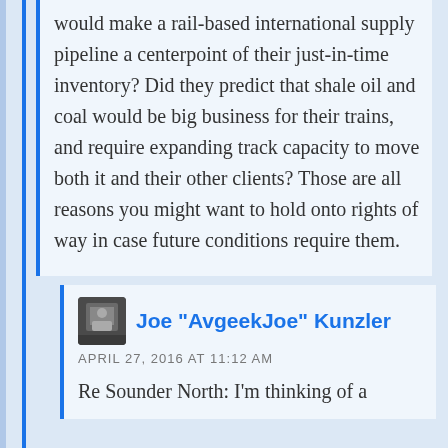would make a rail-based international supply pipeline a centerpoint of their just-in-time inventory? Did they predict that shale oil and coal would be big business for their trains, and require expanding track capacity to move both it and their other clients? Those are all reasons you might want to hold onto rights of way in case future conditions require them.
Joe "AvgeekJoe" Kunzler
APRIL 27, 2016 AT 11:12 AM
Re Sounder North: I'm thinking of a